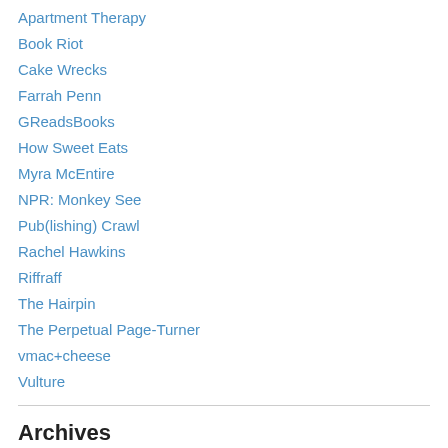Apartment Therapy
Book Riot
Cake Wrecks
Farrah Penn
GReadsBooks
How Sweet Eats
Myra McEntire
NPR: Monkey See
Pub(lishing) Crawl
Rachel Hawkins
Riffraff
The Hairpin
The Perpetual Page-Turner
vmac+cheese
Vulture
Archives
November 2016